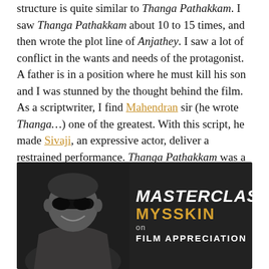structure is quite similar to Thanga Pathakkam. I saw Thanga Pathakkam about 10 to 15 times, and then wrote the plot line of Anjathey. I saw a lot of conflict in the wants and needs of the protagonist. A father is in a position where he must kill his son and I was stunned by the thought behind the film. As a scriptwriter, I find Mahendran sir (he wrote Thanga…) one of the greatest. With this script, he made Sivaji, an expressive actor, deliver a restrained performance. Thanga Pathakkam was a film that inspired me in every possible way.
[Figure (photo): Promotional image for a Masterclass by Mysskin on Film Appreciation. Shows a man with sunglasses smiling, in black and white on the left side. Text on the right reads MASTERCLASS in white italic bold, MYSSKIN in gold/yellow, 'on' in light grey, and FILM APPRECIATION in white uppercase. A small logo is in the top left corner.]